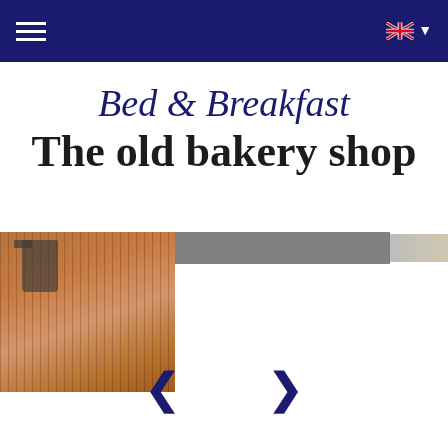Navigation bar with hamburger menu and UK flag language selector
Bed & Breakfast
The old bakery shop
[Figure (photo): Slideshow image area showing partial view of a room interior with terracotta/orange wall texture on the left, a grey horizontal banner in the center, and a beige/cream element on the right. Navigation arrows (< and >) below.]